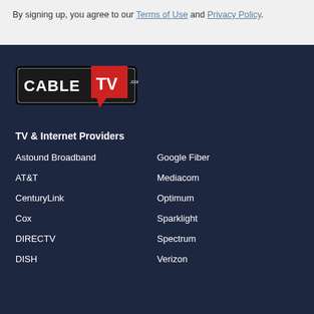By signing up, you agree to our Terms of Use and Privacy Policy.
[Figure (logo): CableTV.com logo — white and black box with CABLE text and red speech bubble with TV text, .com in small text]
TV & Internet Providers
Astound Broadband
Google Fiber
AT&T
Mediacom
CenturyLink
Optimum
Cox
Sparklight
DIRECTV
Spectrum
DISH
Verizon